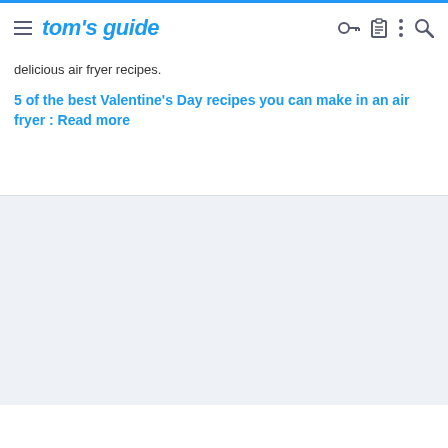tom's guide
delicious air fryer recipes.
5 of the best Valentine's Day recipes you can make in an air fryer : Read more